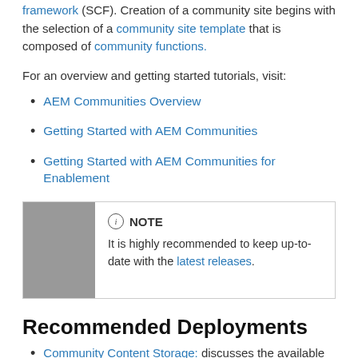framework (SCF). Creation of a community site begins with the selection of a community site template that is composed of community functions.
For an overview and getting started tutorials, visit:
AEM Communities Overview
Getting Started with AEM Communities
Getting Started with AEM Communities for Enablement
NOTE
It is highly recommended to keep up-to-date with the latest releases.
Recommended Deployments
Community Content Storage: discusses the available SRP